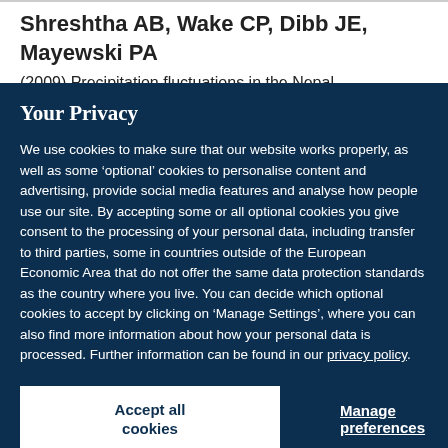Shreshtha AB, Wake CP, Dibb JE, Mayewski PA
(2009) Precipitation fluctuations in the Nepal...
Your Privacy
We use cookies to make sure that our website works properly, as well as some ‘optional’ cookies to personalise content and advertising, provide social media features and analyse how people use our site. By accepting some or all optional cookies you give consent to the processing of your personal data, including transfer to third parties, some in countries outside of the European Economic Area that do not offer the same data protection standards as the country where you live. You can decide which optional cookies to accept by clicking on ‘Manage Settings’, where you can also find more information about how your personal data is processed. Further information can be found in our privacy policy.
Accept all cookies
Manage preferences